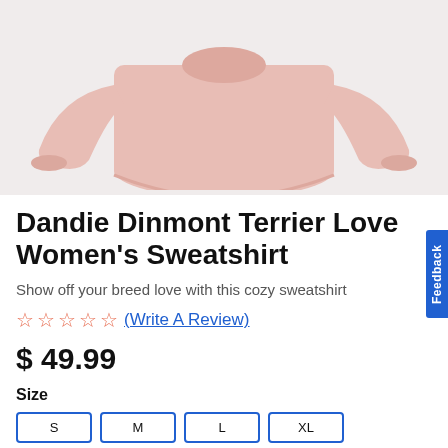[Figure (photo): Pink women's sweatshirt laid flat on a light gray background, showing long sleeves extended outward]
Dandie Dinmont Terrier Love Women's Sweatshirt
Show off your breed love with this cozy sweatshirt
☆☆☆☆☆ (Write A Review)
$ 49.99
Size